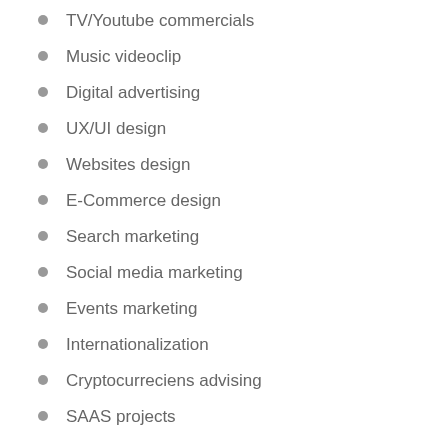TV/Youtube commercials
Music videoclip
Digital advertising
UX/UI design
Websites design
E-Commerce design
Search marketing
Social media marketing
Events marketing
Internationalization
Cryptocurreciens advising
SAAS projects